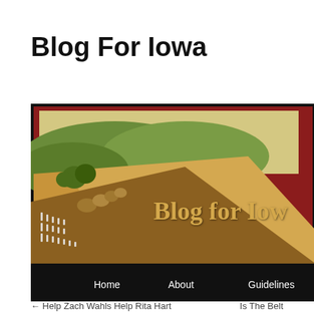Blog For Iowa
[Figure (illustration): Blog For Iowa website banner showing a painting of Iowa farmland/fields and the text 'Blog for Iowa' with subtitle 'The Online Information Resource for Iowa's Progressive Community'. Navigation bar shows Home, About, Guidelines, Editor links.]
← Help Zach Wahls Help Rita Hart   Is The Belt
← Help Zach Wahls Help Rita Hart
Is The Belt